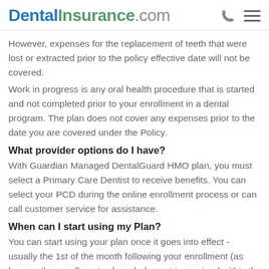DentalInsurance.com
However, expenses for the replacement of teeth that were lost or extracted prior to the policy effective date will not be covered.
Work in progress is any oral health procedure that is started and not completed prior to your enrollment in a dental program. The plan does not cover any expenses prior to the date you are covered under the Policy.
What provider options do I have?
With Guardian Managed DentalGuard HMO plan, you must select a Primary Care Dentist to receive benefits. You can select your PCD during the online enrollment process or can call customer service for assistance.
When can I start using my Plan?
You can start using your plan once it goes into effect - usually the 1st of the month following your enrollment (as long as the enrollment acknowledgment is received within the